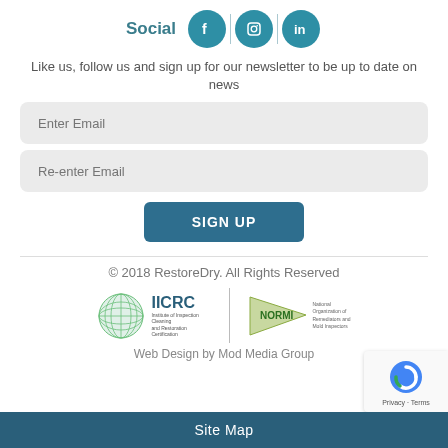Social
Like us, follow us and sign up for our newsletter to be up to date on news
Enter Email
Re-enter Email
SIGN UP
© 2018 RestoreDry. All Rights Reserved
[Figure (logo): IICRC logo — globe icon with IICRC text and Institute of Inspection Cleaning and Restoration Certification]
[Figure (logo): NORMI logo — pennant flag with NORMI text and National Organization of Remediators and Mold Inspectors]
Web Design by Mod Media Group
Site Map